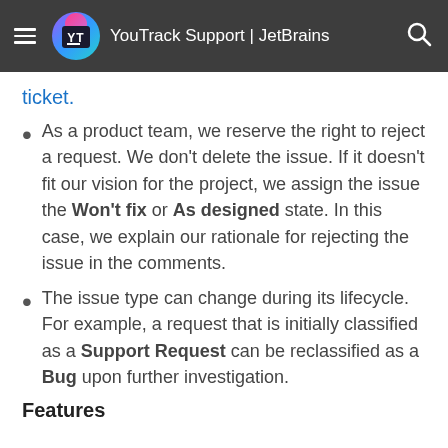YouTrack Support | JetBrains
ticket.
As a product team, we reserve the right to reject a request. We don't delete the issue. If it doesn't fit our vision for the project, we assign the issue the Won't fix or As designed state. In this case, we explain our rationale for rejecting the issue in the comments.
The issue type can change during its lifecycle. For example, a request that is initially classified as a Support Request can be reclassified as a Bug upon further investigation.
Features